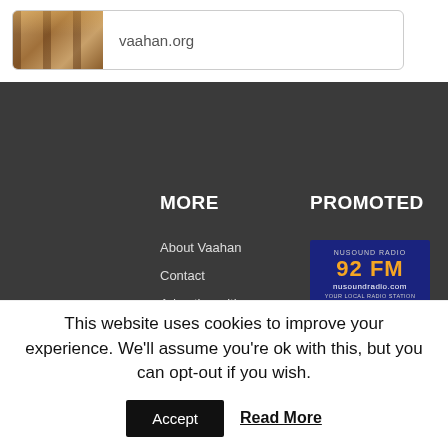[Figure (screenshot): Website card preview with room image thumbnail and vaahan.org URL]
[Figure (screenshot): Dark footer section with MORE and PROMOTED columns]
MORE
About Vaahan
Contact
Advertise with us
Privacy Policy
PROMOTED
[Figure (logo): Nu Sound Radio 92 FM banner logo]
Nu Sound Radio 92 FM
This website uses cookies to improve your experience. We'll assume you're ok with this, but you can opt-out if you wish.
Accept
Read More